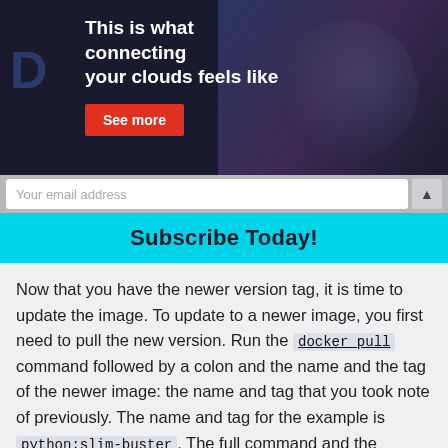[Figure (screenshot): Advertisement banner: dark navy background with bold white headline 'This is what connecting your clouds feels like', a red 'See more' button, and a photo of a person at a computer on the right side.]
Your email address
Subscribe Today!
Now that you have the newer version tag, it is time to update the image. To update to a newer image, you first need to pull the new version. Run the docker pull command followed by a colon and the name and the tag of the newer image: the name and tag that you took note of previously. The name and tag for the example is python:slim-buster. The full command and the resulting output are shown below.